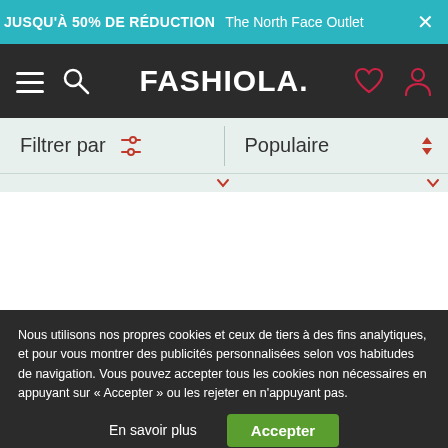JUSQU'À 50% DE RÉDUCTION The North Face Outlet ×
[Figure (screenshot): Fashiola website navigation bar with hamburger menu, search icon, FASHIOLA. logo, heart/wishlist icon, and user account icon on dark background]
Filtrer par | Populaire
Nous utilisons nos propres cookies et ceux de tiers à des fins analytiques, et pour vous montrer des publicités personnalisées selon vos habitudes de navigation. Vous pouvez accepter tous les cookies non nécessaires en appuyant sur « Accepter » ou les rejeter en n'appuyant pas.
En savoir plus   Accepter